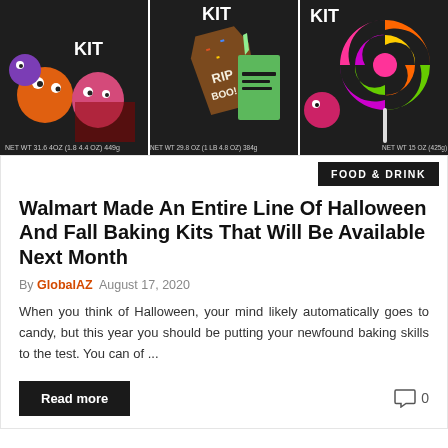[Figure (photo): Three Halloween baking kit product boxes displayed side by side against a dark background. Left box shows colorful monster cookies, center box shows coffin-shaped cookies with RIP decoration, right box shows colorful swirl candy lollipop.]
FOOD & DRINK
Walmart Made An Entire Line Of Halloween And Fall Baking Kits That Will Be Available Next Month
By GlobalAZ  August 17, 2020
When you think of Halloween, your mind likely automatically goes to candy, but this year you should be putting your newfound baking skills to the test. You can of ...
Read more
0